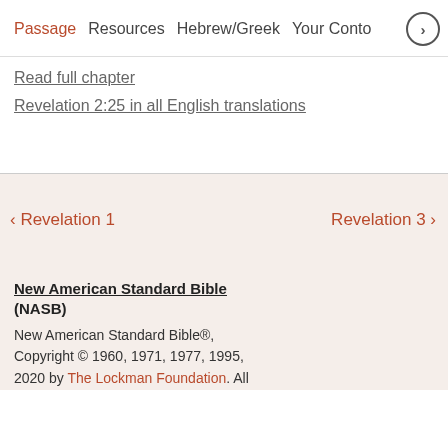Passage   Resources   Hebrew/Greek   Your Conte  >
Read full chapter
Revelation 2:25 in all English translations
< Revelation 1    Revelation 3 >
New American Standard Bible® (NASB)
New American Standard Bible®, Copyright © 1960, 1971, 1977, 1995, 2020 by The Lockman Foundation. All